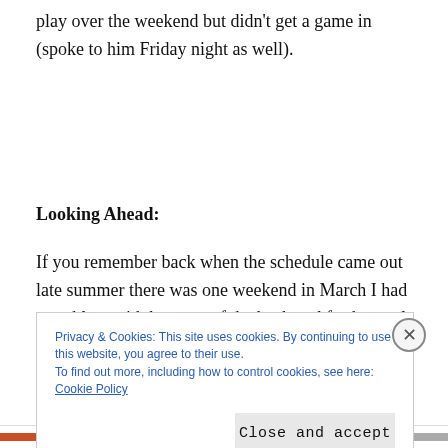play over the weekend but didn't get a game in (spoke to him Friday night as well).
Looking Ahead:
If you remember back when the schedule came out late summer there was one weekend in March I had a problem with because of the back and forth travel. Well
Privacy & Cookies: This site uses cookies. By continuing to use this website, you agree to their use.
To find out more, including how to control cookies, see here: Cookie Policy
Close and accept